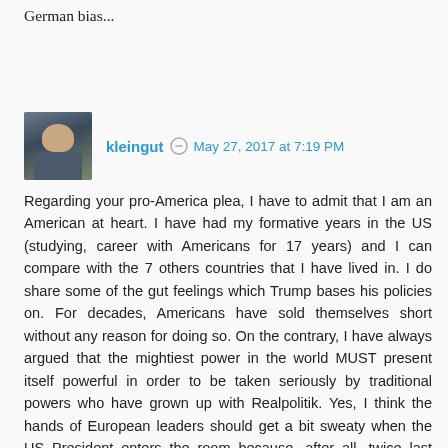German bias...
kleingut  May 27, 2017 at 7:19 PM
Regarding your pro-America plea, I have to admit that I am an American at heart. I have had my formative years in the US (studying, career with Americans for 17 years) and I can compare with the 7 others countries that I have lived in. I do share some of the gut feelings which Trump bases his policies on. For decades, Americans have sold themselves short without any reason for doing so. On the contrary, I have always argued that the mightiest power in the world MUST present itself powerful in order to be taken seriously by traditional powers who have grown up with Realpolitik. Yes, I think the hands of European leaders should get a bit sweaty when the US President enters the room because, after all, twice last century those highly sophisticated and superior Europeans had to be saved by the barbarian Americans from knocking each others!